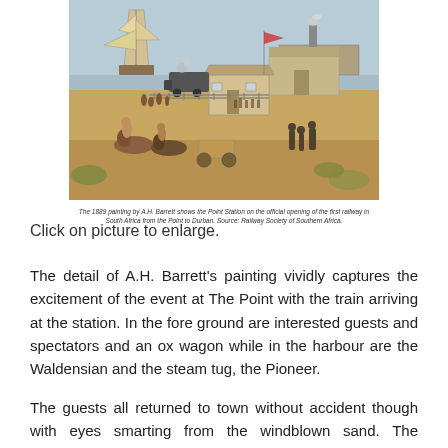[Figure (illustration): The 1889 painting by A.H. Barrett showing the Point Station on the official opening of the first railway in South Africa from the Point to Durban. The scene depicts a harbour with sailing ships and a steam vessel, a train arriving at a station, wooden buildings, and in the foreground people on horseback, ox wagons, and spectators.]
The 1889 painting by A.H. Barrett shows the Point Station on the official opening of the first railway in South Africa from the Point to Durban. Source: Railway Society of Southern Africa.
Click on picture to enlarge.
The detail of A.H. Barrett's painting vividly captures the excitement of the event at The Point with the train arriving at the station. In the fore ground are interested guests and spectators and an ox wagon while in the harbour are the Waldensian and the steam tug, the Pioneer.
The guests all returned to town without accident though with eyes smarting from the windblown sand. The extemporized carriage awning, flags and decorations